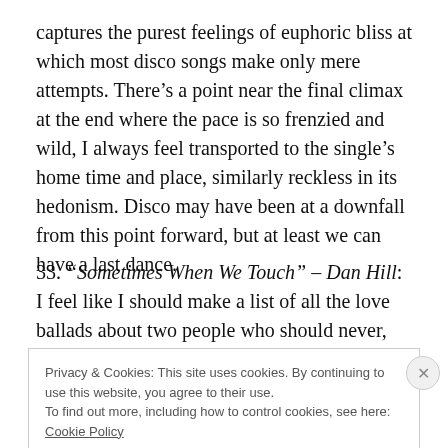captures the purest feelings of euphoric bliss at which most disco songs make only mere attempts. There's a point near the final climax at the end where the pace is so frenzied and wild, I always feel transported to the single's home time and place, similarly reckless in its hedonism. Disco may have been at a downfall from this point forward, but at least we can have a last dance.
33. “Sometimes When We Touch” – Dan Hill: I feel like I should make a list of all the love ballads about two people who should never, ever get back together. Because
Privacy & Cookies: This site uses cookies. By continuing to use this website, you agree to their use.
To find out more, including how to control cookies, see here: Cookie Policy